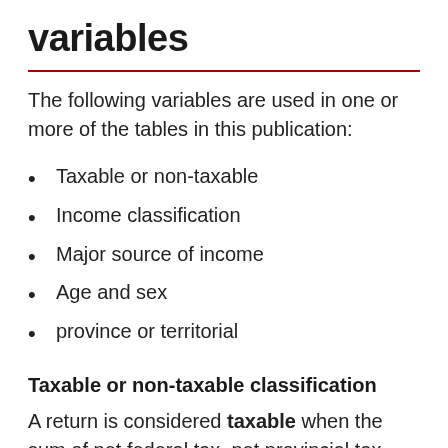variables
The following variables are used in one or more of the tables in this publication:
Taxable or non-taxable
Income classification
Major source of income
Age and sex
province or territorial
Taxable or non-taxable classification
A return is considered taxable when the sum of net federal tax, net provincial tax, CPP contributions payable on self-